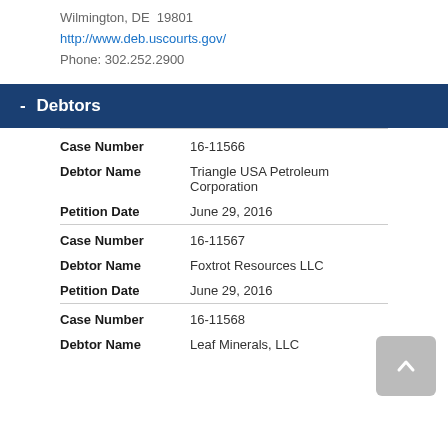Wilmington, DE  19801
http://www.deb.uscourts.gov/
Phone: 302.252.2900
- Debtors
| Field | Value |
| --- | --- |
| Case Number | 16-11566 |
| Debtor Name | Triangle USA Petroleum Corporation |
| Petition Date | June 29, 2016 |
| Case Number | 16-11567 |
| Debtor Name | Foxtrot Resources LLC |
| Petition Date | June 29, 2016 |
| Case Number | 16-11568 |
| Debtor Name | Leaf Minerals, LLC |